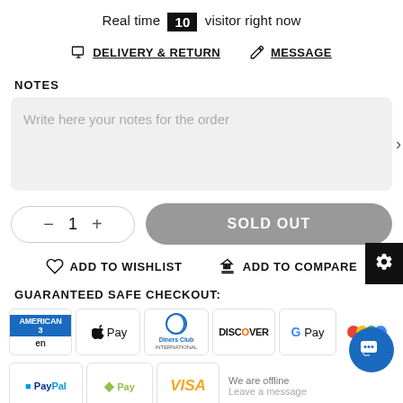Real time 10 visitor right now
DELIVERY & RETURN   MESSAGE
NOTES
Write here your notes for the order
- 1 +   SOLD OUT
ADD TO WISHLIST   ADD TO COMPARE
GUARANTEED SAFE CHECKOUT:
[Figure (infographic): Payment method logos: American Express, Apple Pay, Diners Club International, Discover, G Pay, and colored circle badge]
[Figure (infographic): Payment method logos: PayPal, Shopify Pay, VISA; chat bubble icon; offline message overlay]